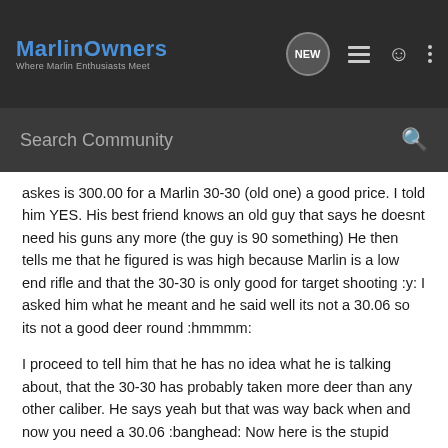MarlinOwners — Where Marlin Enthusiasts Meet
Search Community
askes is 300.00 for a Marlin 30-30 (old one) a good price. I told him YES. His best friend knows an old guy that says he doesnt need his guns any more (the guy is 90 something) He then tells me that he figured is was high because Marlin is a low end rifle and that the 30-30 is only good for target shooting :y: I asked him what he meant and he said well its not a 30.06 so its not a good deer round :hmmmm:
I proceed to tell him that he has no idea what he is talking about, that the 30-30 has probably taken more deer than any other caliber. He says yeah but that was way back when and now you need a 30.06 :banghead: Now here is the stupid part!!!! I convince him that he is wrong and that his friend would be stupid to pass up that 30-30 and not have it as a hunting rifle!!!